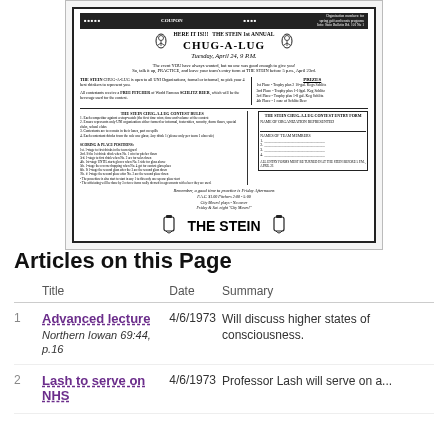[Figure (other): Scanned newspaper advertisement for 'THE STEIN 1st ANNUAL CHUG-A-LUG' event on Tuesday, April 24, 9 P.M. Includes prizes, contest rules, and entry form. Footer reads 'Remember, a good time to practice is Friday Afternoons' and 'THE STEIN'.]
Articles on this Page
|  | Title | Date | Summary |
| --- | --- | --- | --- |
| 1 | Advanced lecture
Northern Iowan 69:44, p.16 | 4/6/1973 | Will discuss higher states of consciousness. |
| 2 | Lash to serve on NHS | 4/6/1973 | Professor Lash will serve on a... |